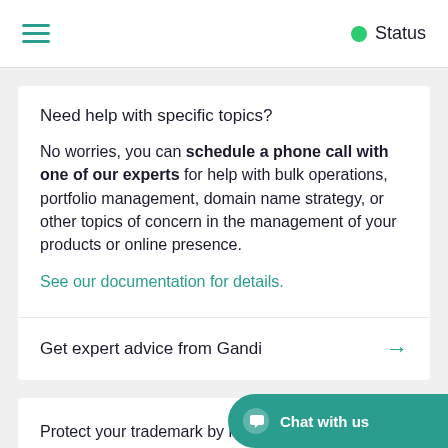Status
Need help with specific topics?
No worries, you can schedule a phone call with one of our experts for help with bulk operations, portfolio management, domain name strategy, or other topics of concern in the management of your products or online presence.
See our documentation for details.
Get expert advice from Gandi
Protect your trademark by registering it in the Trademark ClearingHouse (TMCH) database with Gandi. Once you have done this, you can register domains corresponding to your trademark during an extension's Sunrise Period. You ...